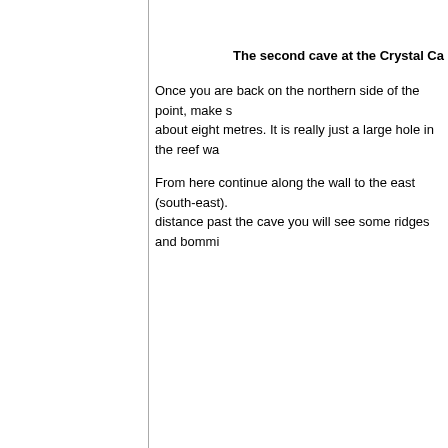The second cave at the Crystal Ca
Once you are back on the northern side of the point, make s about eight metres. It is really just a large hole in the reef wa
From here continue along the wall to the east (south-east). distance past the cave you will see some ridges and bommi